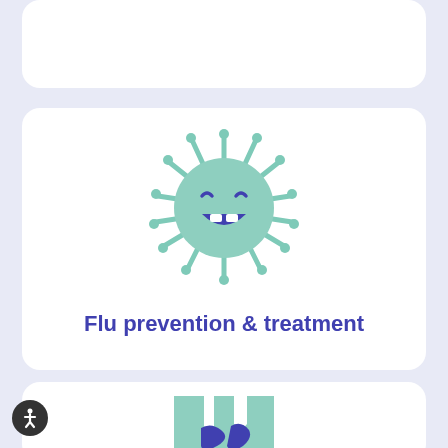[Figure (illustration): White rounded card at the top, partially visible]
[Figure (illustration): Cartoon virus/germ character (green, spiky, with angry purple face/mouth) on a white card]
Flu prevention & treatment
[Figure (illustration): Partially visible white card at bottom with a knee joint anatomy illustration (green and purple)]